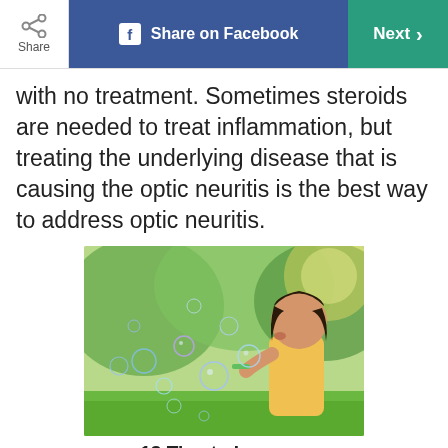Share | Share on Facebook | Next
with no treatment. Sometimes steroids are needed to treat inflammation, but treating the underlying disease that is causing the optic neuritis is the best way to address optic neuritis.
[Figure (photo): A young girl blowing bubbles outdoors in a green park setting]
13 Tips to Improve